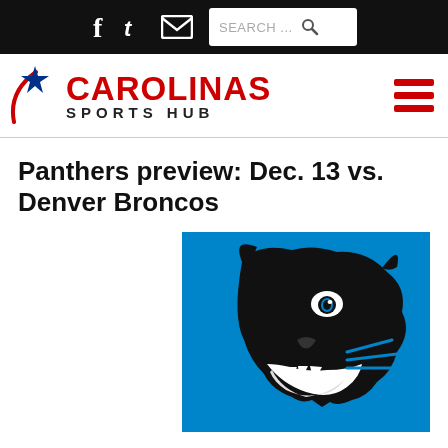Carolinas Sports Hub - navigation bar with Facebook, Twitter, email icons and search box
[Figure (logo): Carolinas Sports Hub logo with red star and red text CAROLINAS above SPORTS HUB in black, hamburger menu icon on right]
Panthers preview: Dec. 13 vs. Denver Broncos
[Figure (illustration): Carolina Panthers NFL team logo - black panther head on blue background with open mouth showing white teeth, facing right]